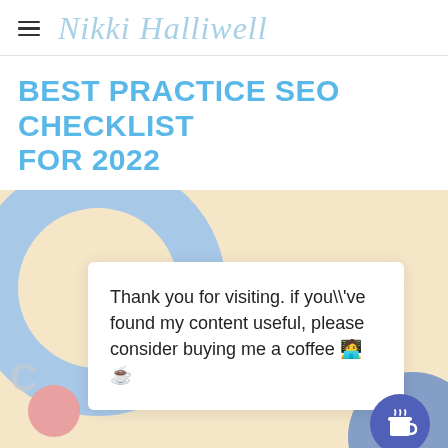Nikki Halliwell
BEST PRACTICE SEO CHECKLIST FOR 2022
[Figure (illustration): Decorative blog header image with peach/beige background, blue arc in top-left corner, pink circle on left side, partial text visible on edges, blue blob in bottom-right with a coffee cup icon. An overlaid white popup card reads: Thank you for visiting. if you\\'ve found my content useful, please consider buying me a coffee 🧑‍💻 ☕]